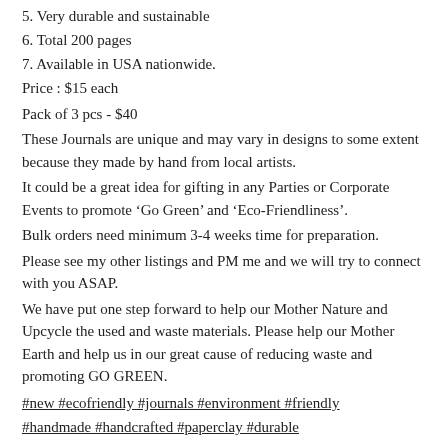5. Very durable and sustainable
6. Total 200 pages
7. Available in USA nationwide.
Price : $15 each
Pack of 3 pcs - $40
These Journals are unique and may vary in designs to some extent because they made by hand from local artists.
It could be a great idea for gifting in any Parties or Corporate Events to promote ‘Go Green’ and ‘Eco-Friendliness’.
Bulk orders need minimum 3-4 weeks time for preparation.
Please see my other listings and PM me and we will try to connect with you ASAP.
We have put one step forward to help our Mother Nature and Upcycle the used and waste materials. Please help our Mother Earth and help us in our great cause of reducing waste and promoting GO GREEN.
#new #ecofriendly #journals #environment #friendly #handmade #handcrafted #paperclay #durable